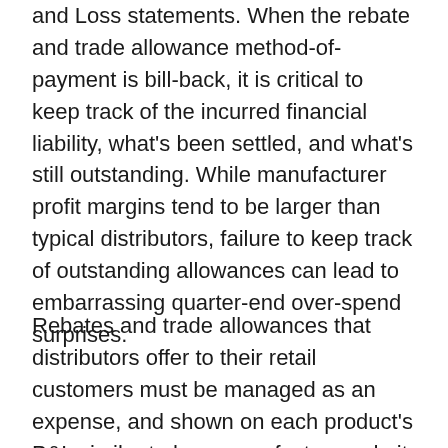and Loss statements.  When the rebate and trade allowance method-of-payment is bill-back, it is critical to keep track of the incurred financial liability, what's been settled, and what's still outstanding.   While manufacturer profit margins tend to be larger than typical distributors, failure to keep track of outstanding allowances can lead to embarrassing quarter-end over-spend surprises.
Rebates and trade allowances that distributors offer to their retail customers must be managed as an expense, and shown on each product's P&L similar to how manufacturers do it.